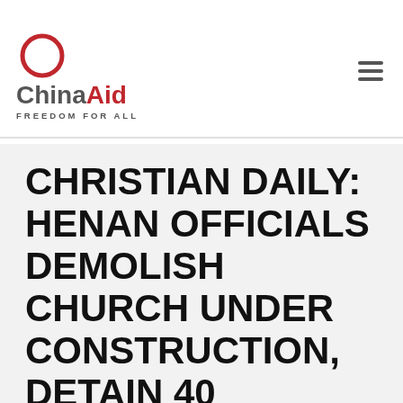[Figure (logo): ChinaAid logo: red circle outline above the text 'ChinaAid' with tagline 'FREEDOM FOR ALL']
CHRISTIAN DAILY: HENAN OFFICIALS DEMOLISH CHURCH UNDER CONSTRUCTION, DETAIN 40